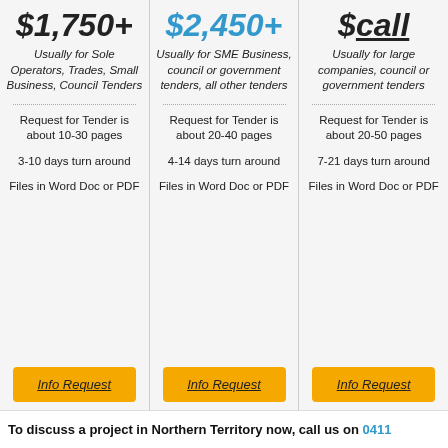$1,750+
Usually for Sole Operators, Trades, Small Business, Council Tenders
Request for Tender is about 10-30 pages
3-10 days turn around
Files in Word Doc or PDF
Info Request
$2,450+
Usually for SME Business, council or government tenders, all other tenders
Request for Tender is about 20-40 pages
4-14 days turn around
Files in Word Doc or PDF
Info Request
$call
Usually for large companies, council or government tenders
Request for Tender is about 20-50 pages
7-21 days turn around
Files in Word Doc or PDF
Info Request
To discuss a project in Northern Territory now, call us on 0411